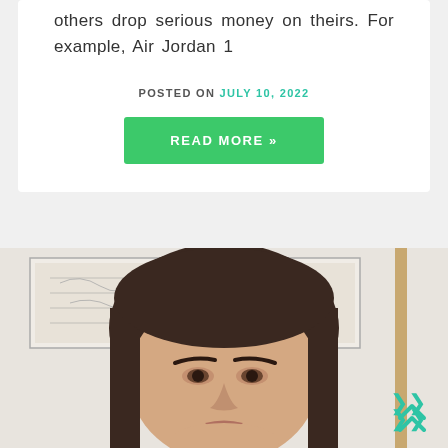others drop serious money on theirs. For example, Air Jordan 1
POSTED ON JULY 10, 2022
READ MORE »
[Figure (photo): Photo of a young woman with dark brown hair, looking slightly upward, with a framed artwork or map visible in the background. A scroll-to-top chevron icon (double up arrows) is visible in teal/green in the lower right corner.]